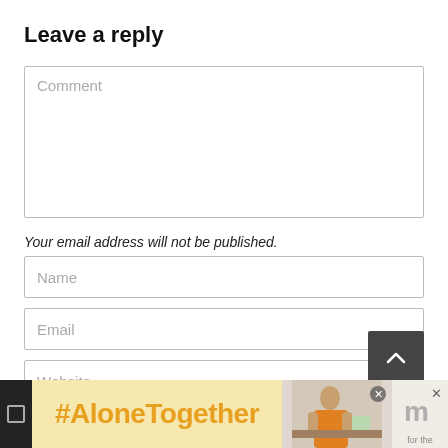Leave a reply
Comment
Your email address will not be published.
Name
Email
Website
[Figure (screenshot): Bottom advertisement bar with #AloneTogether hashtag in orange on yellow background, a photo of a woman, and a dark strip on the left with a checkbox icon.]